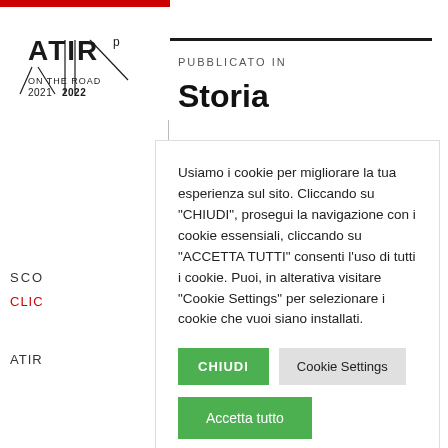[Figure (logo): ATIR On The Road 2021 2022 logo with stylized text and lines]
PUBBLICATO IN
Storia
SCO
CLIC
ATIR
Usiamo i cookie per migliorare la tua esperienza sul sito. Cliccando su "CHIUDI", prosegui la navigazione con i cookie essensiali, cliccando su "ACCETTA TUTTI" consenti l'uso di tutti i cookie. Puoi, in alterativa visitare "Cookie Settings" per selezionare i cookie che vuoi siano installati.